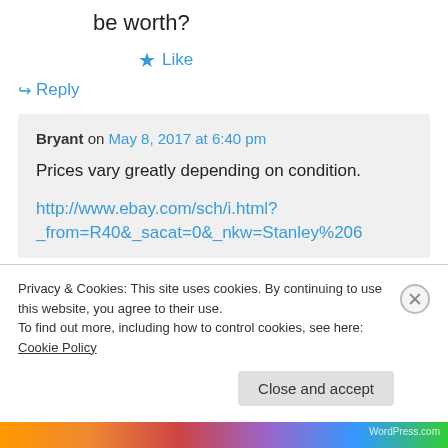be worth?
★ Like
↪ Reply
Bryant on May 8, 2017 at 6:40 pm
Prices vary greatly depending on condition.
http://www.ebay.com/sch/i.html?_from=R40&_sacat=0&_nkw=Stanley%206
Privacy & Cookies: This site uses cookies. By continuing to use this website, you agree to their use.
To find out more, including how to control cookies, see here: Cookie Policy
Close and accept